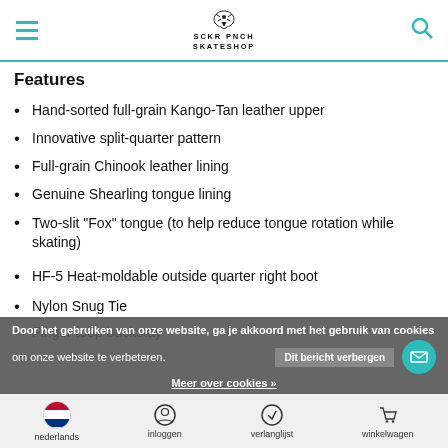SCKR PNCH SKATESHOP
Features
Hand-sorted full-grain Kango-Tan leather upper
Innovative split-quarter pattern
Full-grain Chinook leather lining
Genuine Shearling tongue lining
Two-slit “Fox” tongue (to help reduce tongue rotation while skating)
HF-5 Heat-moldable outside quarter right boot
Nylon Snug Tie
Finger-loop backstay
Door het gebruiken van onze website, ga je akkoord met het gebruik van cookies om onze website te verbeteren.
Dit bericht verbergen
Meer over cookies »
nederlands | inloggen | verlanglijst | winkelwagen